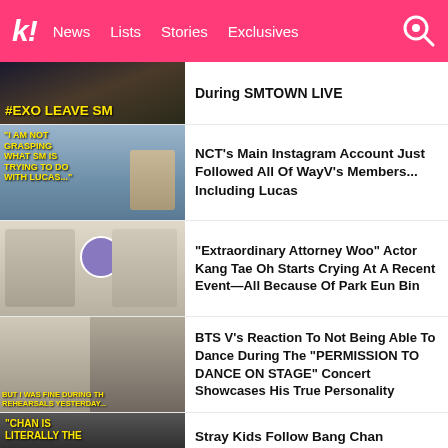k! News Lists Stories Exclusives
[Figure (photo): Thumbnail with #EXO LEAVE SM yellow text overlay on dark background]
During SMTOWN LIVE
[Figure (photo): NCT Lucas portrait with text overlay: I AM NOT GRASPING WHAT SM IS TRYING TO DO WITH LUCAS...]
NCT's Main Instagram Account Just Followed All Of WayV's Members... Including Lucas
[Figure (photo): Three people including Kang Tae Oh and Park Eun Bin at an event]
“Extraordinary Attorney Woo” Actor Kang Tae Oh Starts Crying At A Recent Event—All Because Of Park Eun Bin
[Figure (photo): BTS V with text overlay: BUT I WAS FINE DURING THE REHEARSALS YESTERDAY...]
BTS V’s Reaction To Not Being Able To Dance During The “PERMISSION TO DANCE ON STAGE” Concert Showcases His True Personality
[Figure (photo): Stray Kids thumbnail with text: CHAN IS LITERALLY THE]
Stray Kids Follow Bang Chan